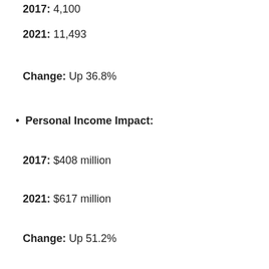2021: 11,493
Change: Up 36.8%
Personal Income Impact:
2017: $408 million
2021: $617 million
Change: Up 51.2%
Business Revenue Impact:
2017: $1.12 billion